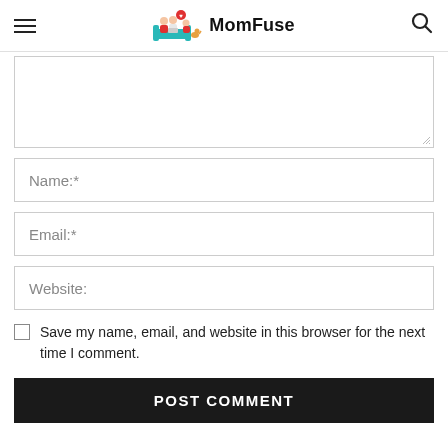MomFuse
[Figure (screenshot): Comment form with textarea, name, email, website fields, checkbox, and POST COMMENT button on MomFuse blog]
Name:*
Email:*
Website:
Save my name, email, and website in this browser for the next time I comment.
POST COMMENT